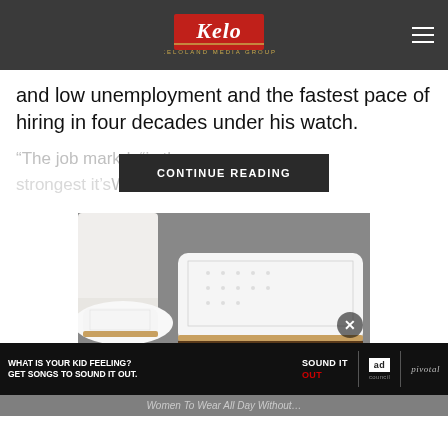KELO - Keloland Media Group
and low unemployment and the fastest pace of hiring in four decades under his watch.
“The job mark… d, “is the strongest it’s… War II”
[Figure (screenshot): CONTINUE READING overlay button on blurred article text]
[Figure (photo): Close-up photo of white sneakers/shoes being worn with white pants, advertisement image]
[Figure (screenshot): Advertisement bar: WHAT IS YOUR KID FEELING? GET SONGS TO SOUND IT OUT. SOUND IT OUT ad council pivotal]
Women To Wear All Day Without…